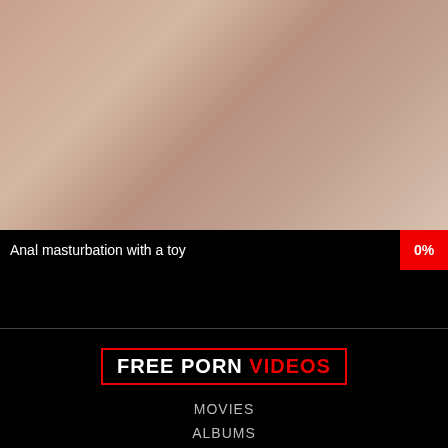[Figure (photo): Thumbnail image of a person in an adult content video]
Anal masturbation with a toy
0%
FREE PORN VIDEOS
MOVIES
ALBUMS